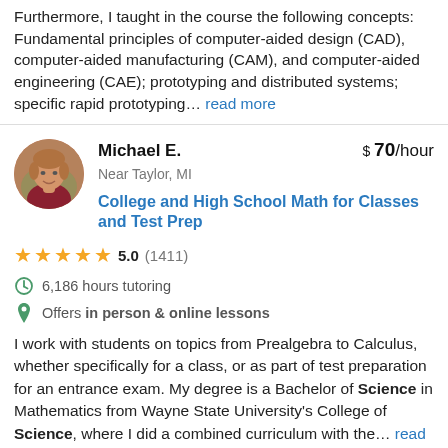Furthermore, I taught in the course the following concepts: Fundamental principles of computer-aided design (CAD), computer-aided manufacturing (CAM), and computer-aided engineering (CAE); prototyping and distributed systems; specific rapid prototyping... read more
Michael E. | $70/hour | Near Taylor, MI
College and High School Math for Classes and Test Prep
5.0 (1411)
6,186 hours tutoring
Offers in person & online lessons
I work with students on topics from Prealgebra to Calculus, whether specifically for a class, or as part of test preparation for an entrance exam. My degree is a Bachelor of Science in Mathematics from Wayne State University's College of Science, where I did a combined curriculum with the... read more